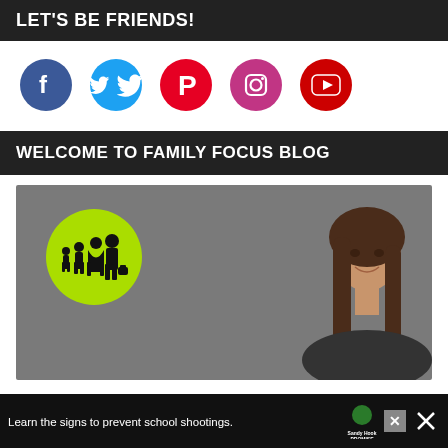LET'S BE FRIENDS!
[Figure (infographic): Five social media icon circles: Facebook (blue), Twitter (cyan), Pinterest (red), Instagram (magenta), YouTube (dark red)]
WELCOME TO FAMILY FOCUS BLOG
[Figure (photo): Photo of a smiling woman with long dark hair against a gray background, with a green circle family silhouette logo on the left side]
Learn the signs to prevent school shootings.